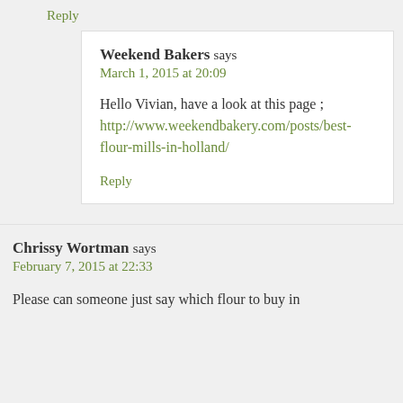Reply
Weekend Bakers says
March 1, 2015 at 20:09
Hello Vivian, have a look at this page ; http://www.weekendbakery.com/posts/best-flour-mills-in-holland/
Reply
Chrissy Wortman says
February 7, 2015 at 22:33
Please can someone just say which flour to buy in